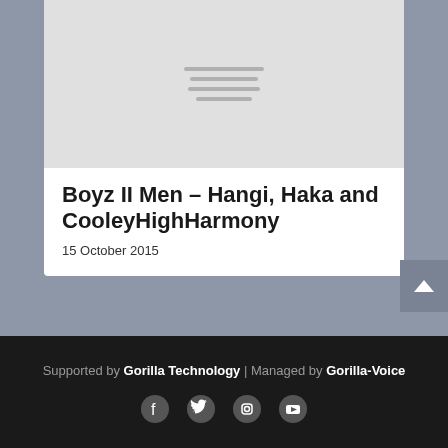[Figure (other): Gray placeholder image with hamburger/list lines icon in center]
Boyz II Men – Hangi, Haka and CooleyHighHarmony
15 October 2015
Supported by Gorilla Technology | Managed by Gorilla-Voice